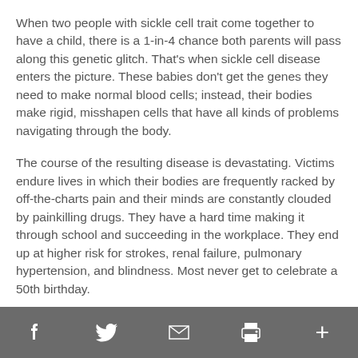When two people with sickle cell trait come together to have a child, there is a 1-in-4 chance both parents will pass along this genetic glitch. That's when sickle cell disease enters the picture. These babies don't get the genes they need to make normal blood cells; instead, their bodies make rigid, misshapen cells that have all kinds of problems navigating through the body.
The course of the resulting disease is devastating. Victims endure lives in which their bodies are frequently racked by off-the-charts pain and their minds are constantly clouded by painkilling drugs. They have a hard time making it through school and succeeding in the workplace. They end up at higher risk for strokes, renal failure, pulmonary hypertension, and blindness. Most never get to celebrate a 50th birthday.
Once her disease finally showed itself, Felix-Ukwu began
f  Twitter  Email  Print  +